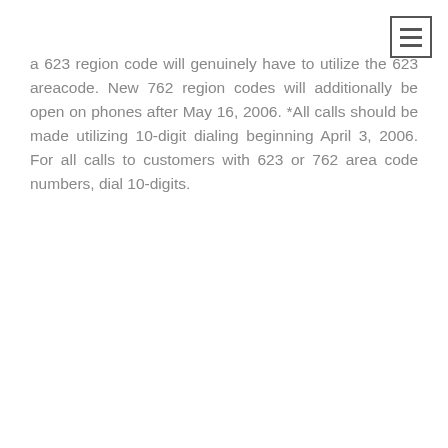[Figure (other): Hamburger menu button icon (three horizontal lines) in a square border, positioned top-right]
a 623 region code will genuinely have to utilize the 623 areacode. New 762 region codes will additionally be open on phones after May 16, 2006. *All calls should be made utilizing 10-digit dialing beginning April 3, 2006. For all calls to customers with 623 or 762 area code numbers, dial 10-digits.